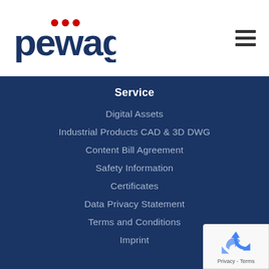[Figure (logo): pewag company logo with red dots above 'w' letters in dark blue text]
[Figure (other): hamburger menu icon with three horizontal dark lines]
Service
Digital Assets
Industrial Products CAD & 3D DWG
Content Bill Agreement
Safety Information
Certificates
Data Privacy Statement
Terms and Conditions
Imprint
[Figure (other): reCAPTCHA badge with recycling-arrow icon and Privacy - Terms text]